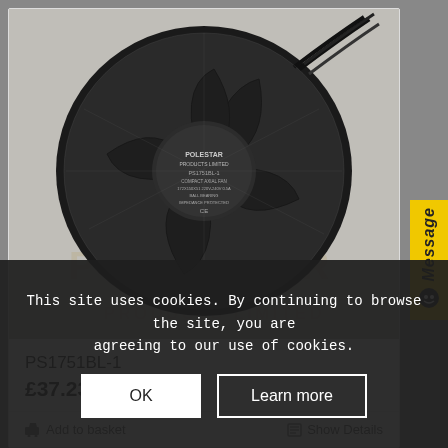[Figure (photo): Black axial fan (Polestar Products Limited PS1751BL-1, Compact Axial Fan, 172x150x51, 220V-240V 0.5A, Ball Bearing, Impedance Protected) photographed against a light grey background with Polestar Products Limited watermark.]
PS1751BL-1
£37.23 ex VAT
Add to basket
Show Details
Message
This site uses cookies. By continuing to browse the site, you are agreeing to our use of cookies.
OK
Learn more